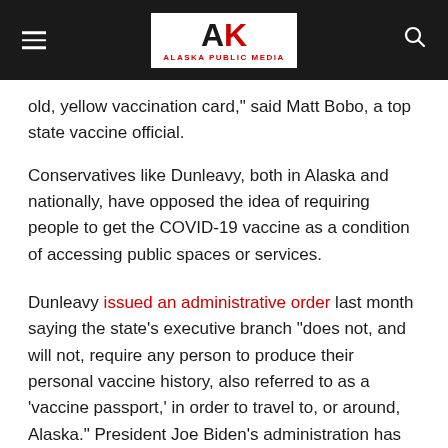Alaska Public Media
old, yellow vaccination card," said Matt Bobo, a top state vaccine official.
Conservatives like Dunleavy, both in Alaska and nationally, have opposed the idea of requiring people to get the COVID-19 vaccine as a condition of accessing public spaces or services.
Dunleavy issued an administrative order last month saying the state's executive branch "does not, and will not, require any person to produce their personal vaccine history, also referred to as a 'vaccine passport,' in order to travel to, or around, Alaska." President Joe Biden's administration has also declined to endorse or support a vaccine passport system, or a federal vaccination database.